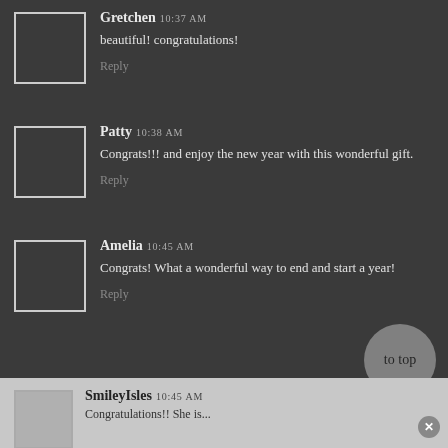Gretchen 10:37 AM
beautiful! congratulations!
Reply
Patty 10:38 AM
Congrats!!! and enjoy the new year with this wonderful gift.
Reply
Amelia 10:45 AM
Congrats! What a wonderful way to end and start a year!
Reply
SmileyIsles 10:45 AM
Congratulations!! She is...